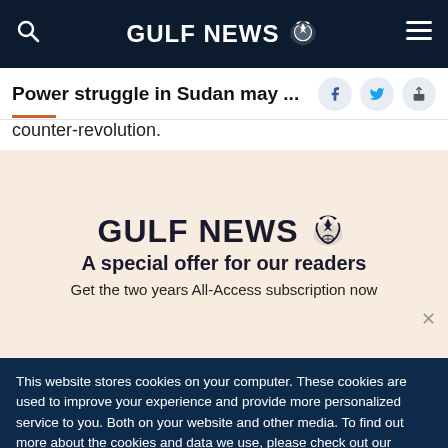GULF NEWS
Power struggle in Sudan may ...
counter-revolution.
[Figure (screenshot): Gulf News subscription modal with logo, eagle emblem, 'A special offer for our readers' heading, and 'Get the two years All-Access subscription now' text on a beige background with a close (×) button.]
This website stores cookies on your computer. These cookies are used to improve your experience and provide more personalized service to you. Both on your website and other media. To find out more about the cookies and data we use, please check out our Privacy Policy.
OK